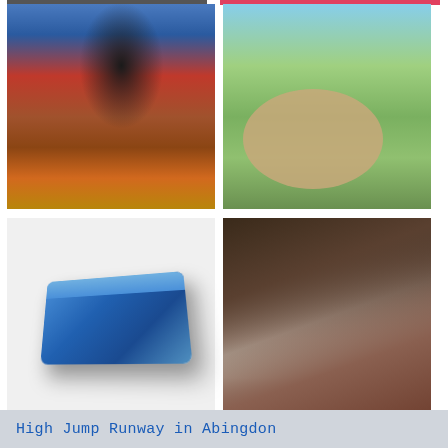[Figure (photo): Athlete doing high jump in a stadium, viewed from side, with another athlete seated in background. TATA sponsor board visible.]
[Figure (photo): Aerial or ground view of a circular dirt/sand throwing area (shot put or discus circle) on a green grass field, with a person in pink standing nearby and yellow measurement sticks.]
[Figure (photo): Blue high jump landing mat on a white background, shown in perspective.]
[Figure (photo): Female athlete doing pole vault, going over the bar, photographed from below with blurred background.]
High Jump Runway in Abingdon